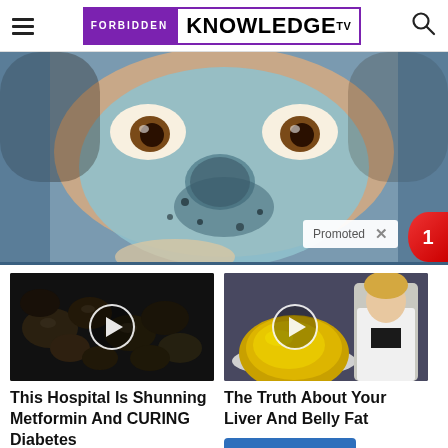Forbidden Knowledge TV
[Figure (photo): Close-up photo of a woman's face with a blue clay face mask applied, with brown eyes visible]
Promoted X
[Figure (photo): Thumbnail showing dark raisins/dried fruit with a play button overlay]
This Hospital Is Shunning Metformin And CURING Diabetes
Watch The Video
[Figure (photo): Thumbnail showing yellow oval shape (olive oil) in a container with a doctor in white coat and play button overlay]
The Truth About Your Liver And Belly Fat
Watch The Video